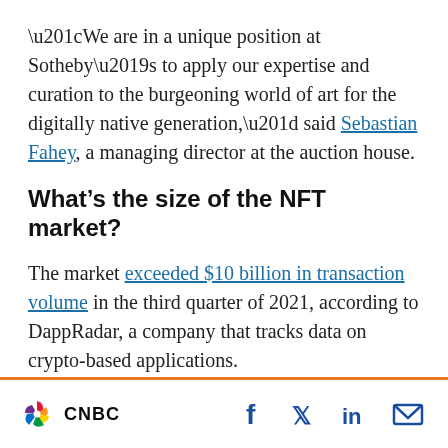“We are in a unique position at Sotheby’s to apply our expertise and curation to the burgeoning world of art for the digitally native generation,” said Sebastian Fahey, a managing director at the auction house.
What’s the size of the NFT market?
The market exceeded $10 billion in transaction volume in the third quarter of 2021, according to DappRadar, a company that tracks data on crypto-based applications.
CNBC logo with social media icons: Facebook, Twitter, LinkedIn, Email